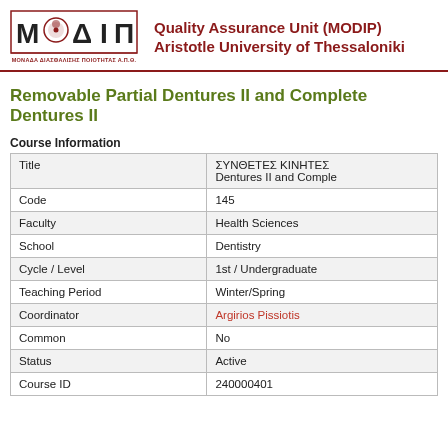[Figure (logo): MODIP logo with Greek letters M, O, D, I, PI and text ΜΟΝΑΔΑ ΔΙΑΣΦΑΛΙΣΗΣ ΠΟΙΟΤΗΤΑΣ Α.Π.Θ.]
Quality Assurance Unit (MODIP) Aristotle University of Thessaloniki
Removable Partial Dentures II and Complete Dentures II
Course Information
| Title | ΣΥΝΘΕΤΕΣ ΚΙΝΗΤΕΣ Dentures II and Comple |
| Code | 145 |
| Faculty | Health Sciences |
| School | Dentistry |
| Cycle / Level | 1st / Undergraduate |
| Teaching Period | Winter/Spring |
| Coordinator | Argirios Pissiotis |
| Common | No |
| Status | Active |
| Course ID | 240000401 |